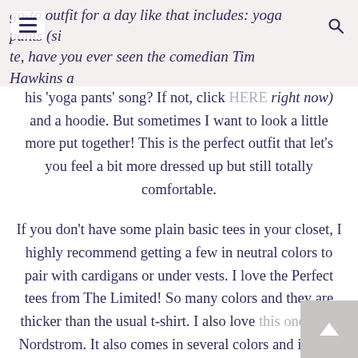go-to outfit for a day like that includes: yoga pants (si... ...te, have you ever seen the comedian Tim Hawkins a...
his 'yoga pants' song? If not, click HERE right now) and a hoodie. But sometimes I want to look a little more put together! This is the perfect outfit that let's you feel a bit more dressed up but still totally comfortable.

If you don't have some plain basic tees in your closet, I highly recommend getting a few in neutral colors to pair with cardigans or under vests. I love the Perfect tees from The Limited! So many colors and they are thicker than the usual t-shirt. I also love this one from Nordstrom. It also comes in several colors and it has a slight high-lo hem that pairs well with leggings.

Long, open cardigans keep you warm on a chilly day and also look so chic. Express had some great options this